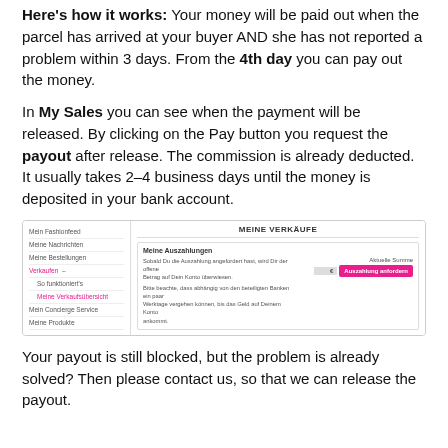Here's how it works: Your money will be paid out when the parcel has arrived at your buyer AND she has not reported a problem within 3 days. From the 4th day you can pay out the money.
In My Sales you can see when the payment will be released. By clicking on the Pay button you request the payout after release. The commission is already deducted. It usually takes 2–4 business days until the money is deposited in your bank account.
[Figure (screenshot): Screenshot of the 'Meine Verkäufe' (My Sales) page on a fashion marketplace, showing the 'Meine Auszahlungen' (My Payouts) section with a pink 'Auszahlung anfordern' button and current balance field.]
Your payout is still blocked, but the problem is already solved? Then please contact us, so that we can release the payout.